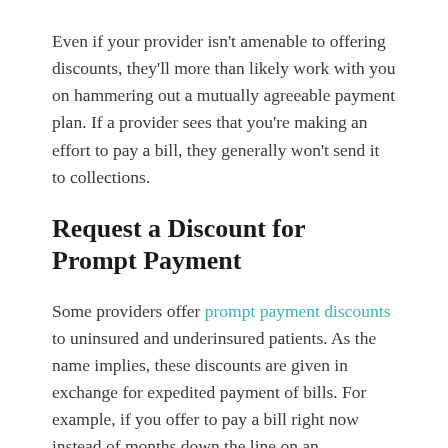Even if your provider isn't amenable to offering discounts, they'll more than likely work with you on hammering out a mutually agreeable payment plan. If a provider sees that you're making an effort to pay a bill, they generally won't send it to collections.
Request a Discount for Prompt Payment
Some providers offer prompt payment discounts to uninsured and underinsured patients. As the name implies, these discounts are given in exchange for expedited payment of bills. For example, if you offer to pay a bill right now instead of months down the line on an installment plan,